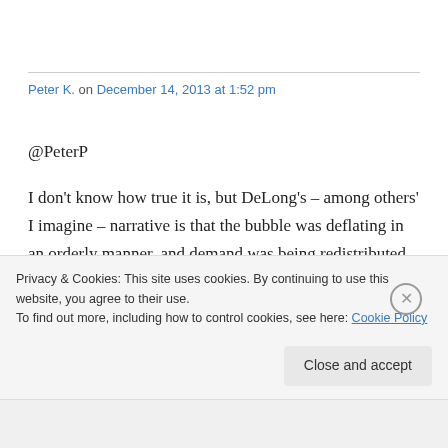Peter K. on December 14, 2013 at 1:52 pm
@PeterP

I don't know how true it is, but DeLong's – among others' I imagine – narrative is that the bubble was deflating in an orderly manner, and demand was being redistributed to other areas until at a certain point panic set in and the economics changed. After the panic, aggregate
Privacy & Cookies: This site uses cookies. By continuing to use this website, you agree to their use.
To find out more, including how to control cookies, see here: Cookie Policy
Close and accept